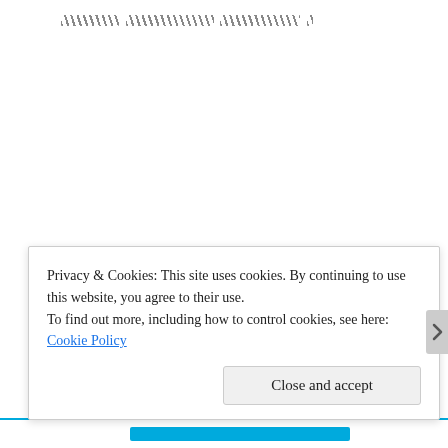[redacted text line]
[redacted paragraph text spanning multiple lines]
Privacy & Cookies: This site uses cookies. By continuing to use this website, you agree to their use.
To find out more, including how to control cookies, see here: Cookie Policy
Close and accept